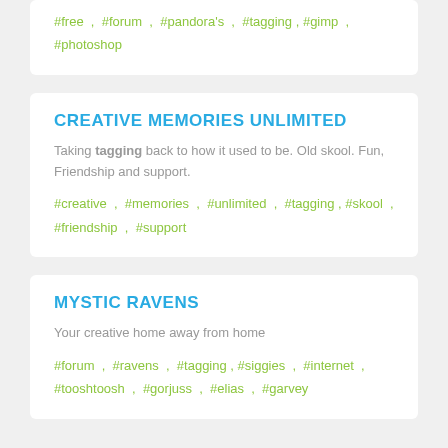#free , #forum , #pandora's , #tagging , #gimp , #photoshop
CREATIVE MEMORIES UNLIMITED
Taking tagging back to how it used to be. Old skool. Fun, Friendship and support.
#creative , #memories , #unlimited , #tagging , #skool , #friendship , #support
MYSTIC RAVENS
Your creative home away from home
#forum , #ravens , #tagging , #siggies , #internet , #tooshtoosh , #gorjuss , #elias , #garvey